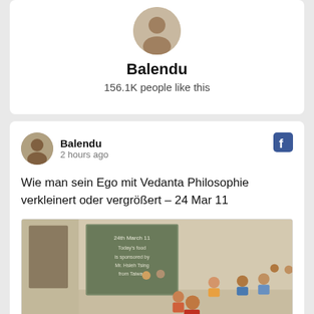[Figure (photo): Circular profile avatar photo of Balendu (top card)]
Balendu
156.1K people like this
[Figure (photo): Circular avatar photo of Balendu (post header)]
Balendu
2 hours ago
[Figure (logo): Facebook icon (f) in blue square]
Wie man sein Ego mit Vedanta Philosophie verkleinert oder vergrößert – 24 Mar 11
[Figure (photo): Classroom photo showing children sitting on the floor, with a chalkboard sign reading '24th March 11 Today's food is sponsored by Mr. Hsieh Tsing from Taiwan']